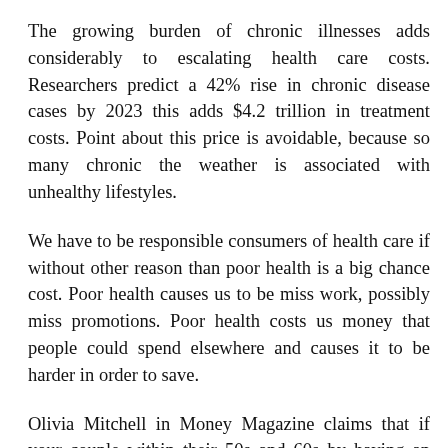The growing burden of chronic illnesses adds considerably to escalating health care costs. Researchers predict a 42% rise in chronic disease cases by 2023 this adds $4.2 trillion in treatment costs. Point about this price is avoidable, because so many chronic the weather is associated with unhealthy lifestyles.
We have to be responsible consumers of health care if without other reason than poor health is a big chance cost. Poor health causes us to be miss work, possibly miss promotions. Poor health costs us money that people could spend elsewhere and causes it to be harder in order to save.
Olivia Mitchell in Money Magazine claims that if your couple within their 50s and 60s by having an average earnings develop chronic health problems, it'll slow their savings by half the speed of the healthy counterparts. She